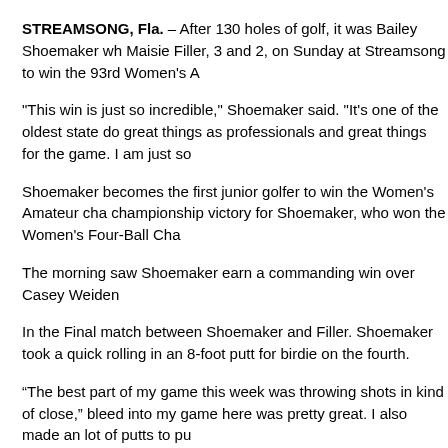STREAMSONG, Fla. – After 130 holes of golf, it was Bailey Shoemaker who defeated Maisie Filler, 3 and 2, on Sunday at Streamsong to win the 93rd Women's A
"This win is just so incredible," Shoemaker said. "It's one of the oldest state do great things as professionals and great things for the game. I am just so
Shoemaker becomes the first junior golfer to win the Women's Amateur cha championship victory for Shoemaker, who won the Women's Four-Ball Cha
The morning saw Shoemaker earn a commanding win over Casey Weiden
In the Final match between Shoemaker and Filler. Shoemaker took a quick rolling in an 8-foot putt for birdie on the fourth.
“The best part of my game this week was throwing shots in kind of close,” bleed into my game here was pretty great. I also made an lot of putts to pu
On the par-3 fifth hole, Filler just missed her par putt to give Shoemaker a to 2 feet and made the putt for birdie to win the hole.
Filler and Shoemaker halved the seventh and eighth, heading to the ninth as they made the turn to the back side.
Shoemaker, a Dade City resident, extended her lead to 2 up again with a p cut the lead back to 1 up. On the par-4 14th hole, Shoemaker's second sho